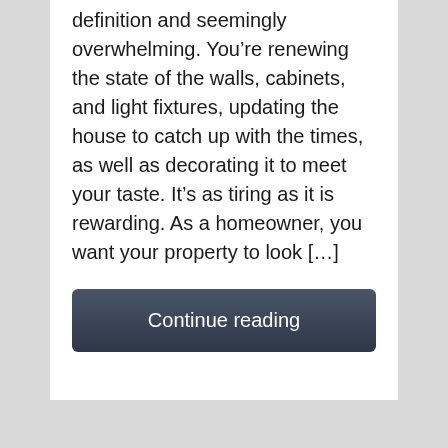definition and seemingly overwhelming. You're renewing the state of the walls, cabinets, and light fixtures, updating the house to catch up with the times, as well as decorating it to meet your taste. It's as tiring as it is rewarding. As a homeowner, you want your property to look […]
Continue reading
3 weeks ago
Categories ↓
1  2  3  ...  73  Next